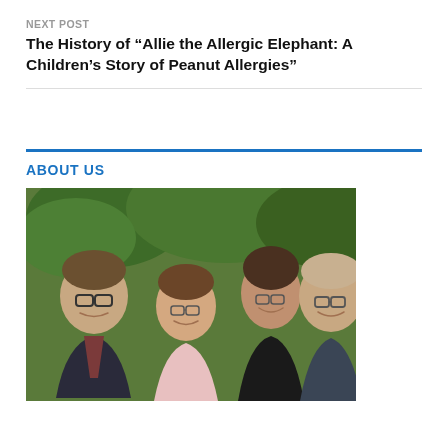NEXT POST
The History of “Allie the Allergic Elephant: A Children’s Story of Peanut Allergies”
ABOUT US
[Figure (photo): Group photo of four people (two men and two women) smiling outdoors with trees in background]